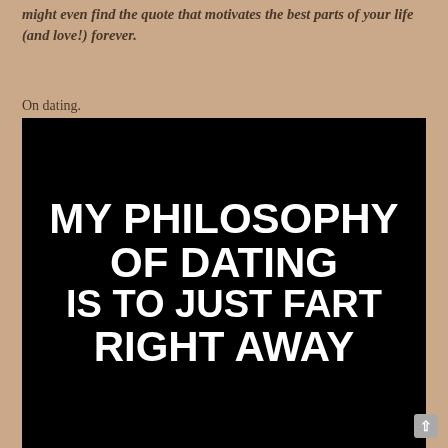might even find the quote that motivates the best parts of your life (and love!) forever.
On dating.
[Figure (photo): Black background image with large bold white text reading: MY PHILOSOPHY OF DATING IS TO JUST FART RIGHT AWAY]